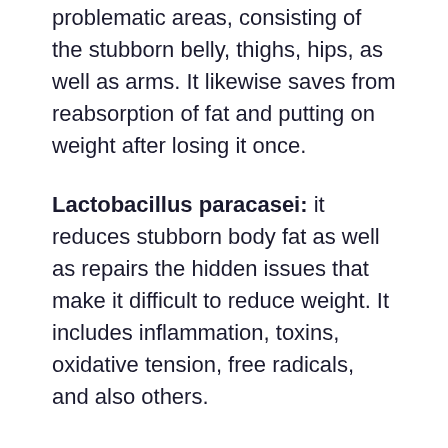problematic areas, consisting of the stubborn belly, thighs, hips, as well as arms. It likewise saves from reabsorption of fat and putting on weight after losing it once.
Lactobacillus paracasei: it reduces stubborn body fat as well as repairs the hidden issues that make it difficult to reduce weight. It includes inflammation, toxins, oxidative tension, free radicals, and also others.
Lactobacillus Fermentum: this stress offers cholesterol management and immunological benefits, straight affecting digestion wellness. It additionally saves from respiratory infections as well as kidney and also liver diseases.